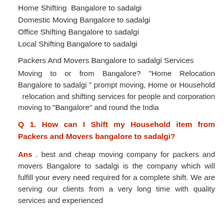Home Shifting  Bangalore to sadalgi
Domestic Moving Bangalore to sadalgi
Office Shifting Bangalore to sadalgi
Local Shifting Bangalore to sadalgi
Packers And Movers Bangalore to sadalgi Services
Moving to or from Bangalore? "Home Relocation Bangalore to sadalgi " prompt moving, Home or Household  relocation and shifting services for people and corporation moving to "Bangalore" and round the India
Q 1. How can I Shift my Household item from Packers and Movers bangalore to sadalgi?
Ans . best and cheap moving company for packers and movers Bangalore to sadalgi is the company which will fulfill your every need required for a complete shift. We are serving our clients from a very long time with quality services and experienced